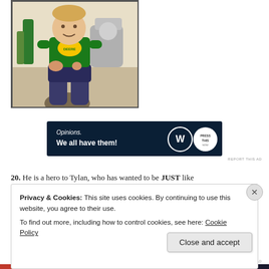[Figure (photo): A young toddler boy wearing a green John Deere t-shirt and navy shorts, sitting on a kitchen counter with a stand mixer and green bottles in the background.]
[Figure (other): Advertisement banner with dark navy background. Text reads 'Opinions. We all have them!' with WordPress and other logos on the right.]
REPORT THIS AD
20. He is a hero to Tylan, who has wanted to be JUST like
Privacy & Cookies: This site uses cookies. By continuing to use this website, you agree to their use.
To find out more, including how to control cookies, see here: Cookie Policy
Close and accept
REPORT THIS AD